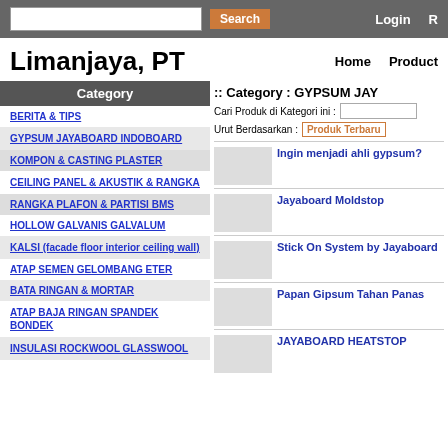Search  Login
Limanjaya, PT
Home  Product
Category
:: Category : GYPSUM JAY...
Cari Produk di Kategori ini :
Urut Berdasarkan : Produk Terbaru
BERITA & TIPS
GYPSUM JAYABOARD INDOBOARD
KOMPON & CASTING PLASTER
CEILING PANEL & AKUSTIK & RANGKA
RANGKA PLAFON & PARTISI BMS
HOLLOW GALVANIS GALVALUM
KALSI (facade floor interior ceiling wall)
ATAP SEMEN GELOMBANG ETER
BATA RINGAN & MORTAR
ATAP BAJA RINGAN SPANDEK BONDEK
INSULASI ROCKWOOL GLASSWOOL
Ingin menjadi ahli gypsum?
Jayaboard Moldstop
Stick On System by Jayaboard
Papan Gipsum Tahan Panas
JAYABOARD HEATSTOP